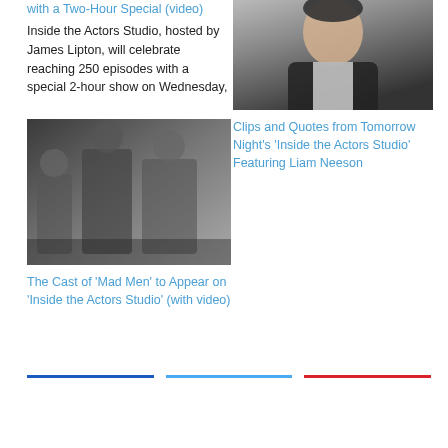with a Two-Hour Special (video)
Inside the Actors Studio, hosted by James Lipton, will celebrate reaching 250 episodes with a special 2-hour show on Wednesday,
[Figure (photo): Photo of a man in a dark suit with white shirt, appearing to be smiling or speaking]
Clips and Quotes from Tomorrow Night's 'Inside the Actors Studio' Featuring Liam Neeson
[Figure (photo): Photo of group of people on a stage, appearing to be cast of Mad Men on Inside the Actors Studio]
The Cast of 'Mad Men' to Appear on 'Inside the Actors Studio' (with video)